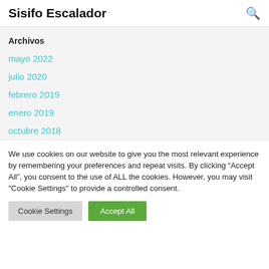Sisifo Escalador
Archivos
mayo 2022
julio 2020
febrero 2019
enero 2019
octubre 2018
We use cookies on our website to give you the most relevant experience by remembering your preferences and repeat visits. By clicking “Accept All”, you consent to the use of ALL the cookies. However, you may visit "Cookie Settings" to provide a controlled consent.
Cookie Settings | Accept All